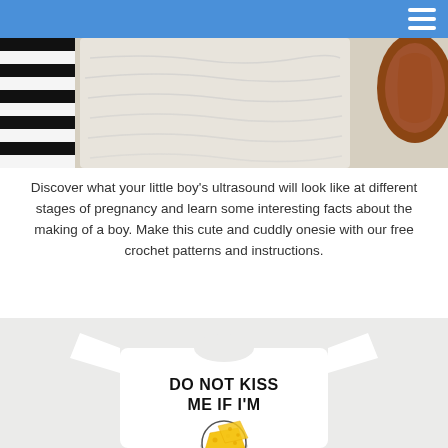Navigation bar with hamburger menu
[Figure (photo): Close-up photo of baby items on a surface: black and white striped fabric/socks, white fabric/onesie, brown leather item, on a cream textured background]
Discover what your little boy's ultrasound will look like at different stages of pregnancy and learn some interesting facts about the making of a boy. Make this cute and cuddly onesie with our free crochet patterns and instructions.
[Figure (photo): White baby onesie on light grey background with text 'DO NOT KISS ME IF I'M' and an illustration of cheese slices below the text]